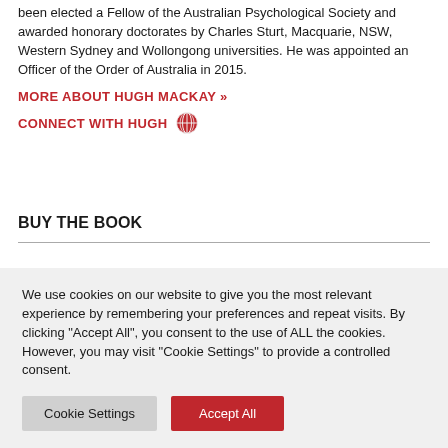been elected a Fellow of the Australian Psychological Society and awarded honorary doctorates by Charles Sturt, Macquarie, NSW, Western Sydney and Wollongong universities. He was appointed an Officer of the Order of Australia in 2015.
MORE ABOUT HUGH MACKAY »
CONNECT WITH HUGH
BUY THE BOOK
We use cookies on our website to give you the most relevant experience by remembering your preferences and repeat visits. By clicking "Accept All", you consent to the use of ALL the cookies. However, you may visit "Cookie Settings" to provide a controlled consent.